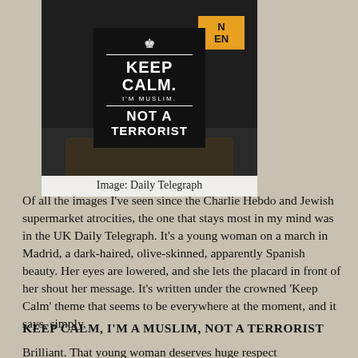[Figure (photo): Person holding a black placard with white text reading 'KEEP CALM. I'M MUSLIM. NOT A TERRORIST' with a crown symbol at the top, styled in the 'Keep Calm and Carry On' format. A second sign is partially visible to the right.]
Image: Daily Telegraph
Of all the images I've seen since the Charlie Hebdo and Jewish supermarket atrocities, the one that stays most in my mind was in the UK Daily Telegraph. It's a young woman on a march in Madrid, a dark-haired, olive-skinned, apparently Spanish beauty. Her eyes are lowered, and she lets the placard in front of her shout her message. It's written under the crowned 'Keep Calm' theme that seems to be everywhere at the moment, and it says, simply,
KEEP CALM, I'M A MUSLIM, NOT A TERRORIST
Brilliant. That young woman deserves huge respect